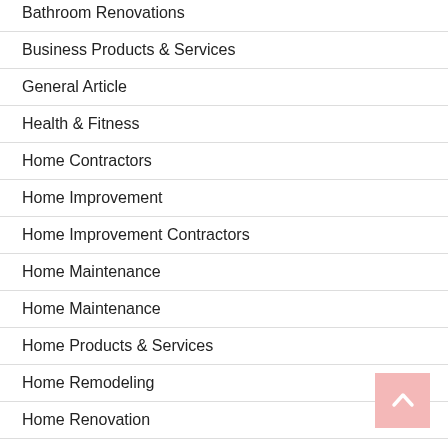Bathroom Renovations
Business Products & Services
General Article
Health & Fitness
Home Contractors
Home Improvement
Home Improvement Contractors
Home Maintenance
Home Maintenance
Home Products & Services
Home Remodeling
Home Renovation
Home Repair
House Improvements